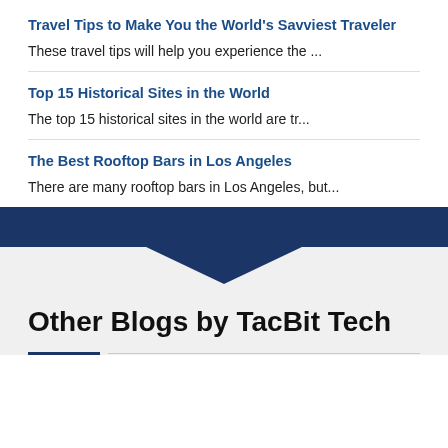Travel Tips to Make You the World's Savviest Traveler
These travel tips will help you experience the ...
Top 15 Historical Sites in the World
The top 15 historical sites in the world are tr...
The Best Rooftop Bars in Los Angeles
There are many rooftop bars in Los Angeles, but...
Other Blogs by TacBit Tech